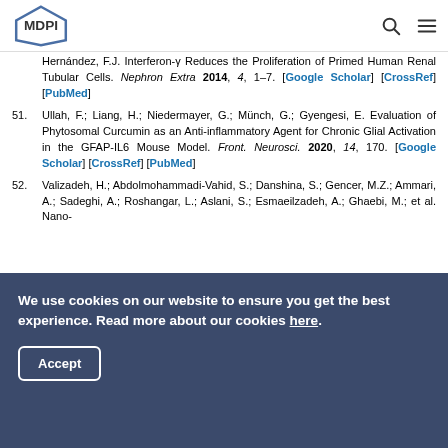MDPI
Hernández, F.J. Interferon-γ Reduces the Proliferation of Primed Human Renal Tubular Cells. Nephron Extra 2014, 4, 1–7. [Google Scholar] [CrossRef] [PubMed]
51. Ullah, F.; Liang, H.; Niedermayer, G.; Münch, G.; Gyengesi, E. Evaluation of Phytosomal Curcumin as an Anti-inflammatory Agent for Chronic Glial Activation in the GFAP-IL6 Mouse Model. Front. Neurosci. 2020, 14, 170. [Google Scholar] [CrossRef] [PubMed]
52. Valizadeh, H.; Abdolmohammadi-Vahid, S.; Danshina, S.; Gencer, M.Z.; Ammari, A.; Sadeghi, A.; Roshangar, L.; Aslani, S.; Esmaeilzadeh, A.; Ghaebi, M.; et al. Nano-
We use cookies on our website to ensure you get the best experience. Read more about our cookies here.